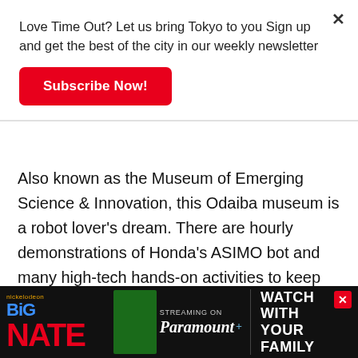Love Time Out? Let us bring Tokyo to you Sign up and get the best of the city in our weekly newsletter
Subscribe Now!
Also known as the Museum of Emerging Science & Innovation, this Odaiba museum is a robot lover's dream. There are hourly demonstrations of Honda's ASIMO bot and many high-tech hands-on activities to keep the kids busy. Check out the seventh floor restaurant for an opportunity to eat the world – there's a blue rice cracker ice cream sandwich resembling Earth. On the third floor you'll find an activity-packed play area for younger children. The museum has seamlessly incorporated English into each
[Figure (screenshot): Nickelodeon Big Nate advertisement banner: 'Streaming on Paramount+ Watch With Your Family']